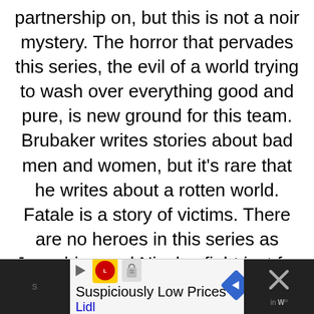partnership on, but this is not a noir mystery. The horror that pervades this series, the evil of a world trying to wash over everything good and pure, is new ground for this team. Brubaker writes stories about bad men and women, but it's rare that he writes about a rotten world. Fatale is a story of victims. There are no heroes in this series as Josephine and Nicolas fight just for their own survival. Brubaker and Phillips' Fatale stumbles as it attempts to tell a story through multiple timelines but their story about
[Figure (other): Advertisement banner for Lidl: 'Suspiciously Low Prices' with Lidl logo, play arrow, navigation arrow diamond, and dark strip on right with X close button]